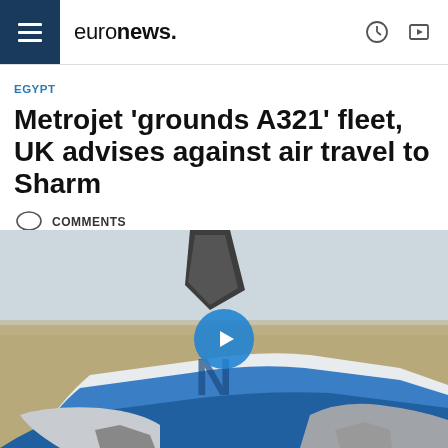euronews.
EGYPT
Metrojet 'grounds A321' fleet, UK advises against air travel to Sharm
COMMENTS
By Euronews with British government, Reuters • 05/11/2015
[Figure (photo): Wreckage of crashed Metrojet A321 aircraft with blue fuselage debris and tail section on desert ground, with a video play button overlay]